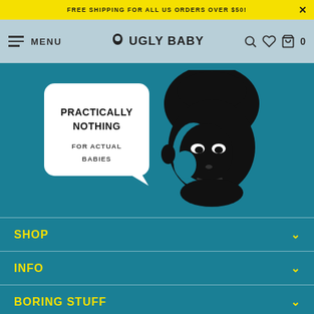FREE SHIPPING FOR ALL US ORDERS OVER $50!
UGLY BABY — MENU — SHOP navigation header
[Figure (illustration): Ugly Baby brand illustration: a black-and-white graphic of a baby face with a speech bubble reading 'PRACTICALLY NOTHING FOR ACTUAL BABIES' on a teal background]
SHOP
INFO
BORING STUFF